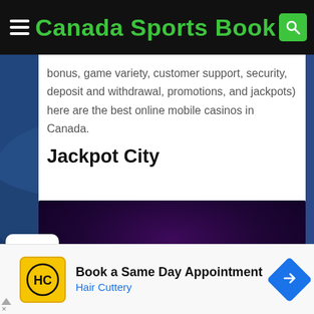Canada Sports Book
bonus, game variety, customer support, security, deposit and withdrawal, promotions, and jackpots) here are the best online mobile casinos in Canada.
Jackpot City
[Figure (photo): Jackpot City casino promotional image with purple/dark background and pink/magenta glowing neon light lines at the bottom forming an arch shape]
Book a Same Day Appointment
Hair Cuttery